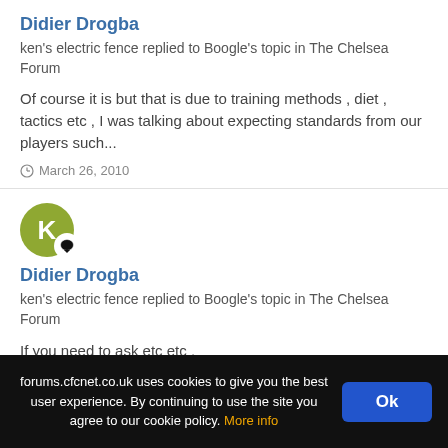Didier Drogba
ken's electric fence replied to Boogle's topic in The Chelsea Forum
Of course it is but that is due to training methods , diet , tactics etc , I was talking about expecting standards from our players such...
March 26, 2010
[Figure (illustration): User avatar: olive green circle with letter K, with a speech bubble badge]
Didier Drogba
ken's electric fence replied to Boogle's topic in The Chelsea Forum
If you need to ask etc etc .
March 26, 2010
forums.cfcnet.co.uk uses cookies to give you the best user experience. By continuing to use the site you agree to our cookie policy. More info